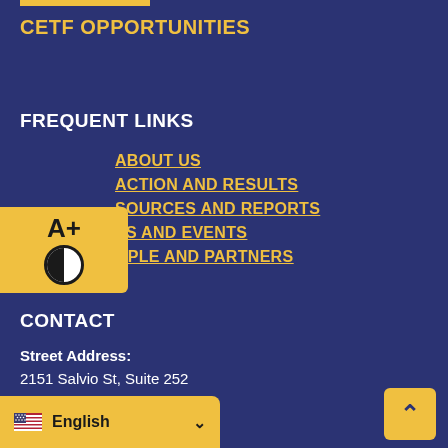CETF OPPORTUNITIES
FREQUENT LINKS
ABOUT US
ACTION AND RESULTS
RESOURCES AND REPORTS
NEWS AND EVENTS
PEOPLE AND PARTNERS
CONTACT
Street Address:
2151 Salvio St, Suite 252
Concord, CA 94520
English